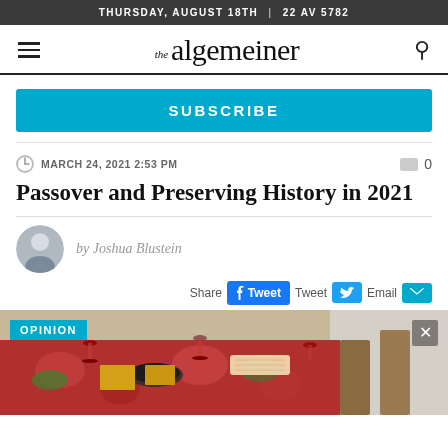THURSDAY, AUGUST 18TH | 22 AV 5782
[Figure (logo): The Algemeiner newspaper logo with hamburger menu and search icon]
SUBSCRIBE
MARCH 24, 2021 2:53 PM   0
Passover and Preserving History in 2021
by Joshua Blustein
Share  Tweet  Email
[Figure (photo): Passover seder table with red floral tablecloth, wine glasses, matzah and Seder plate foods, with OPINION tag overlay]